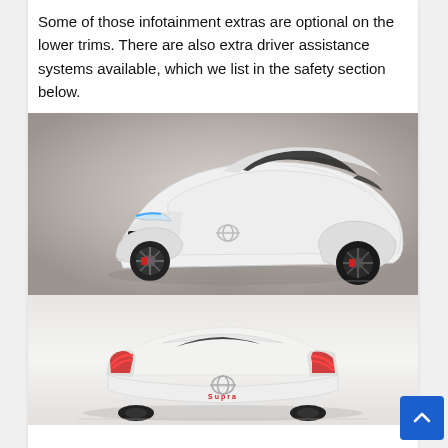Some of those infotainment extras are optional on the lower trims. There are also extra driver assistance systems available, which we list in the safety section below.
[Figure (photo): White Toyota GR Supra sports car, front three-quarter view, on a grey gradient background]
[Figure (photo): White Toyota GR Supra sports car, rear view, showing red Supra lettering and Toyota logo, on a light background]